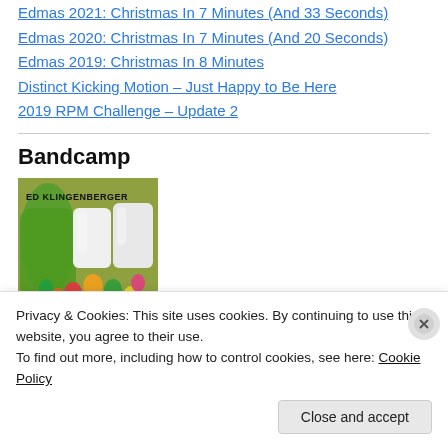Edmas 2021: Christmas In 7 Minutes (And 33 Seconds)
Edmas 2020: Christmas In 7 Minutes (And 20 Seconds)
Edmas 2019: Christmas In 8 Minutes
Distinct Kicking Motion – Just Happy to Be Here
2019 RPM Challenge – Update 2
Bandcamp
[Figure (photo): Album art for Ed Klingenberger showing colorful candy/gummy bears in jars and on surface]
Privacy & Cookies: This site uses cookies. By continuing to use this website, you agree to their use. To find out more, including how to control cookies, see here: Cookie Policy
Close and accept